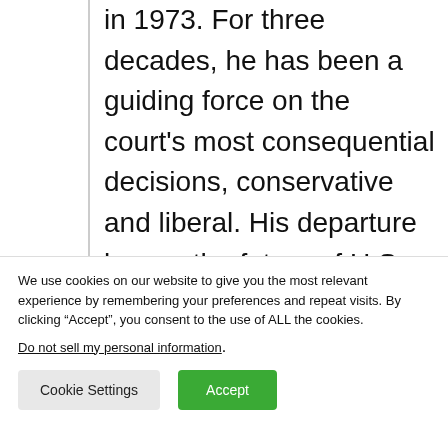in 1973. For three decades, he has been a guiding force on the court’s most consequential decisions, conservative and liberal. His departure leaves the future of U.S. constitutional law entirely up for grabs.

Kennedy made it to the highest court in the land after Ronald Reagan’s failed selections first of Robert Bork and then Douglas Ginsburg. When the Reagan administration
We use cookies on our website to give you the most relevant experience by remembering your preferences and repeat visits. By clicking “Accept”, you consent to the use of ALL the cookies.
Do not sell my personal information.